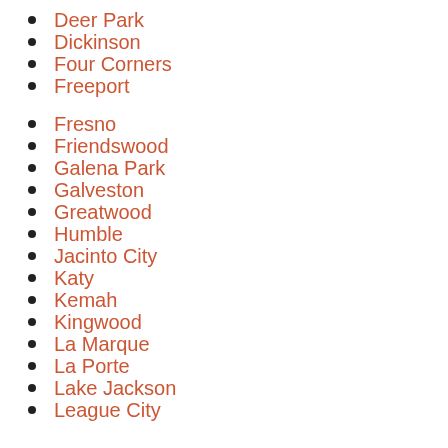Deer Park
Dickinson
Four Corners
Freeport
Fresno
Friendswood
Galena Park
Galveston
Greatwood
Humble
Jacinto City
Katy
Kemah
Kingwood
La Marque
La Porte
Lake Jackson
League City